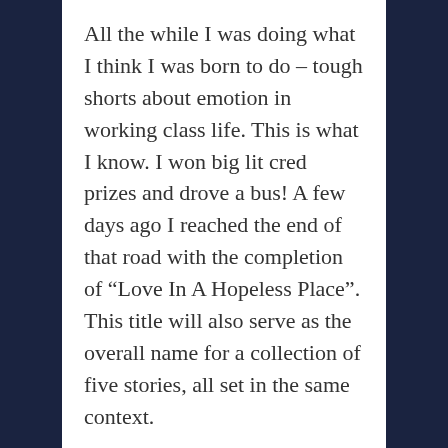All the while I was doing what I think I was born to do – tough shorts about emotion in working class life. This is what I know. I won big lit cred prizes and drove a bus! A few days ago I reached the end of that road with the completion of “Love In A Hopeless Place”. This title will also serve as the overall name for a collection of five stories, all set in the same context.
This story is a 10,000 word first person account of a working class woman’s experience of self discovery. You can imagine if you read my blogs – there is sex in the mix and even joyously spilled